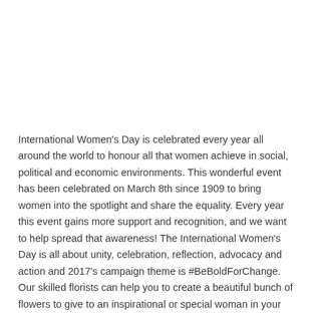International Women's Day is celebrated every year all around the world to honour all that women achieve in social, political and economic environments. This wonderful event has been celebrated on March 8th since 1909 to bring women into the spotlight and share the equality. Every year this event gains more support and recognition, and we want to help spread that awareness! The International Women's Day is all about unity, celebration, reflection, advocacy and action and 2017's campaign theme is #BeBoldForChange. Our skilled florists can help you to create a beautiful bunch of flowers to give to an inspirational or special woman in your life to celebrate their strength, courage and beauty. Whether that's your grandmother, mother, sister, daughter, aunt, colleague or friend – there is a woman in all of our lives that are worth celebrating! Come in and get a pretty posy for a special someone today!
Jump over to our Instagram: https://www.instagram.com/melbourneflorist/ Or